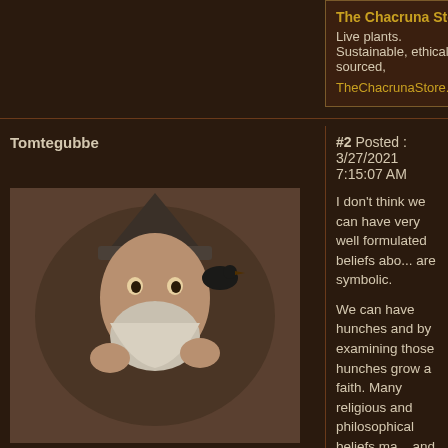[Figure (screenshot): Forum advertisement banner for The Chacruna Store with golden title, description text, and link]
The Chacruna Store
Live plants. Sustainable, ethically sourced,
TheChacrunaStore.com
Tomtegubbe
#2 Posted : 3/27/2021 7:15:07 AM
[Figure (photo): Avatar image of a ceramic wizard/gnome figurine with hat, holding something, colorful painted ceramic]
DMT-Nexus member
Posts: 702
Joined: 15-Aug-2020
Last visit: 05-Sep-2022
I don't think we can have very well formulated beliefs about what experiences are symbolic.

We can have hunches and by examining those hunches more carefully we can grow a faith. Many religious and philosophical beliefs make the world meaningful and provide a thread to follow in your everyday decisions.
My preferred method:
Very easy pharmahuasca recipe
My preferred introductory article:
Just a Wee Bit More About DMT, by Nick Sand
Bisy
#3 Posted : 3/27/2021 8:34:44 AM
[Figure (photo): Avatar image of a dog, appears to be a German Shepherd or similar breed, outdoors]
Tomtegubbe wrote:
I don't think we can have very well formulated beliefs